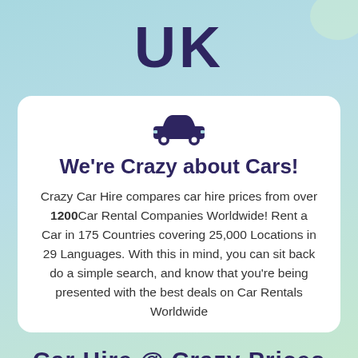UK
[Figure (illustration): Car icon (silhouette of a car, dark navy blue)]
We're Crazy about Cars!
Crazy Car Hire compares car hire prices from over 1200Car Rental Companies Worldwide! Rent a Car in 175 Countries covering 25,000 Locations in 29 Languages. With this in mind, you can sit back do a simple search, and know that you're being presented with the best deals on Car Rentals Worldwide
Car Hire @ Crazy Prices